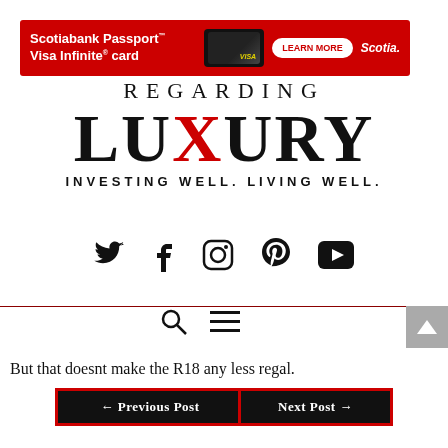[Figure (screenshot): Scotiabank Passport Visa Infinite card advertisement banner with red background, card image, LEARN MORE button, and Scotia logo]
REGARDING LUXURY
INVESTING WELL. LIVING WELL.
[Figure (infographic): Social media icons: Twitter, Facebook, Instagram, Pinterest, YouTube]
But that doesnt make the R18 any less regal.
← Previous Post
Next Post →